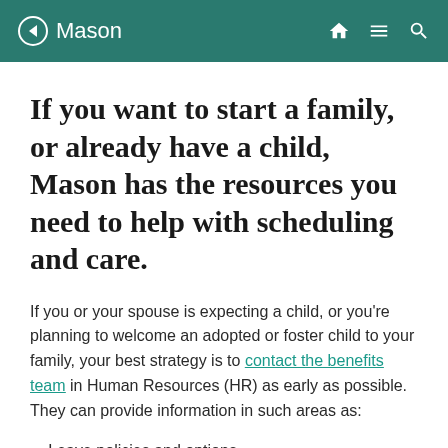Mason
If you want to start a family, or already have a child, Mason has the resources you need to help with scheduling and care.
If you or your spouse is expecting a child, or you're planning to welcome an adopted or foster child to your family, your best strategy is to contact the benefits team in Human Resources (HR) as early as possible. They can provide information in such areas as:
Leave policies and options.